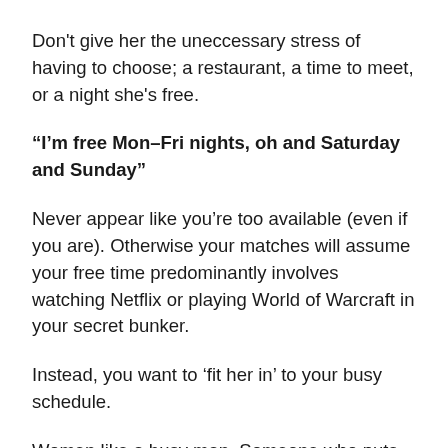Don't give her the uneccessary stress of having to choose; a restaurant, a time to meet, or a night she's free.
“I’m free Mon–Fri nights, oh and Saturday and Sunday”
Never appear like you’re too available (even if you are). Otherwise your matches will assume your free time predominantly involves watching Netflix or playing World of Warcraft in your secret bunker.
Instead, you want to ‘fit her in’ to your busy schedule.
Women like a busy man. Someone who puts